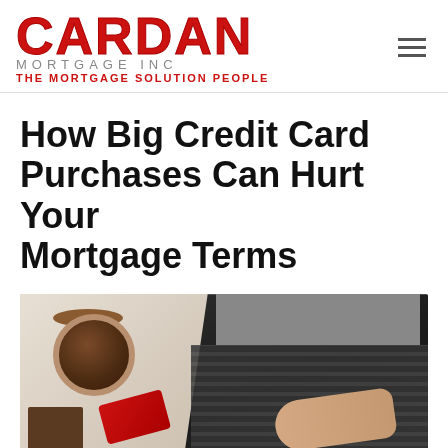[Figure (logo): Cardan Mortgage Inc logo with red CARDAN text, gray MORTGAGE INC subtitle, and red THE MORTGAGE SOLUTION PEOPLE tagline]
How Big Credit Card Purchases Can Hurt Your Mortgage Terms
[Figure (photo): Overhead view of a person holding a red credit card and using a laptop, with a coffee cup and notebook on a desk]